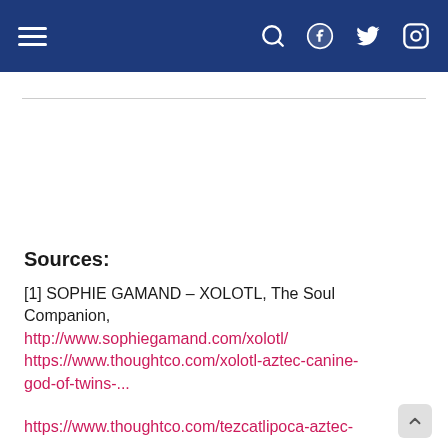[Figure (screenshot): Navigation bar with hamburger menu on left and social icons (search, Facebook, Twitter, Instagram) on right, dark blue background with white icons]
Sources:
[1] SOPHIE GAMAND – XOLOTL, The Soul Companion, http://www.sophiegamand.com/xolotl/
https://www.thoughtco.com/xolotl-aztec-canine-god-of-twins-...
https://www.thoughtco.com/tezcatlipoca-aztec-